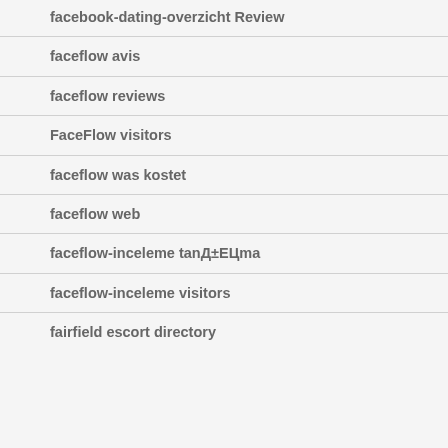facebook-dating-overzicht Review
faceflow avis
faceflow reviews
FaceFlow visitors
faceflow was kostet
faceflow web
faceflow-inceleme tanД±ЕЦma
faceflow-inceleme visitors
fairfield escort directory